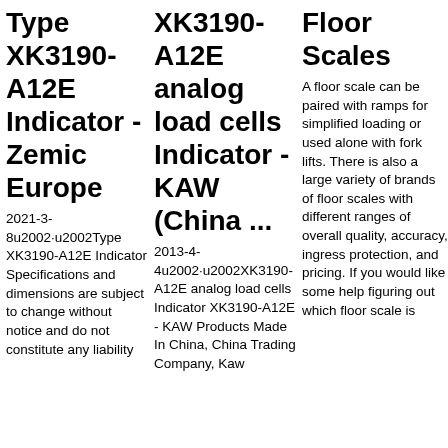Type XK3190-A12E Indicator - Zemic Europe
2021-3-8u2002·u2002Type XK3190-A12E Indicator Specifications and dimensions are subject to change without notice and do not constitute any liability
XK3190-A12E analog load cells Indicator - KAW (China ...
2013-4-4u2002·u2002XK3190-A12E analog load cells Indicator XK3190-A12E - KAW Products Made In China, China Trading Company, Kaw
Floor Scales
A floor scale can be paired with ramps for simplified loading or used alone with fork lifts. There is also a large variety of brands of floor scales with different ranges of overall quality, accuracy, ingress protection, and pricing. If you would like some help figuring out which floor scale is